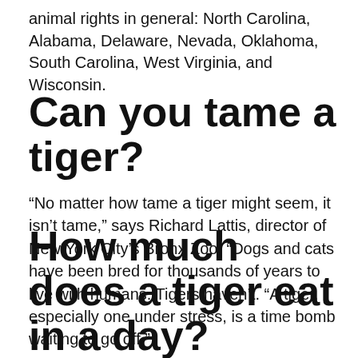animal rights in general: North Carolina, Alabama, Delaware, Nevada, Oklahoma, South Carolina, West Virginia, and Wisconsin.
Can you tame a tiger?
“No matter how tame a tiger might seem, it isn’t tame,” says Richard Lattis, director of New York City’s Bronx Zoo. “Dogs and cats have been bred for thousands of years to live with humans. Tigers haven’t. “A tiger, especially one under stress, is a time bomb waiting to go off.”
How much does a tiger eat in a day?